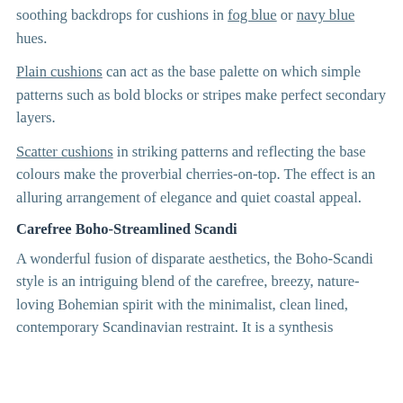soothing backdrops for cushions in fog blue or navy blue hues.
Plain cushions can act as the base palette on which simple patterns such as bold blocks or stripes make perfect secondary layers.
Scatter cushions in striking patterns and reflecting the base colours make the proverbial cherries-on-top. The effect is an alluring arrangement of elegance and quiet coastal appeal.
Carefree Boho-Streamlined Scandi
A wonderful fusion of disparate aesthetics, the Boho-Scandi style is an intriguing blend of the carefree, breezy, nature-loving Bohemian spirit with the minimalist, clean lined, contemporary Scandinavian restraint. It is a synthesis